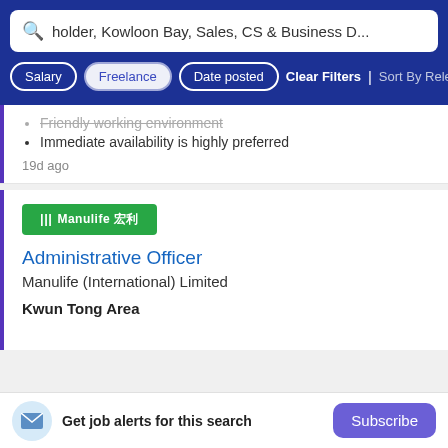holder, Kowloon Bay, Sales, CS & Business D...
Friendly working environment
Immediate availability is highly preferred
19d ago
[Figure (logo): Manulife logo in green rectangle with Chinese characters]
Administrative Officer
Manulife (International) Limited
Kwun Tong Area
Get job alerts for this search